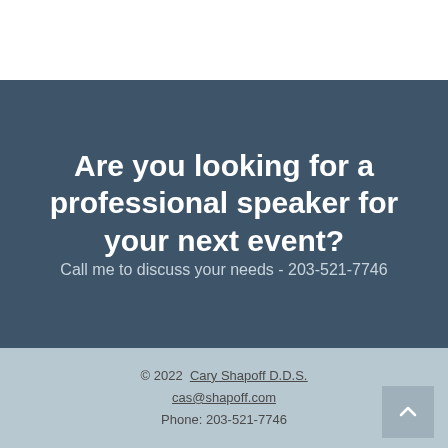Are you looking for a professional speaker for your next event?
Call me to discuss your needs - 203-521-7746
© 2022  Cary Shapoff D.D.S.
cas@shapoff.com
Phone: 203-521-7746